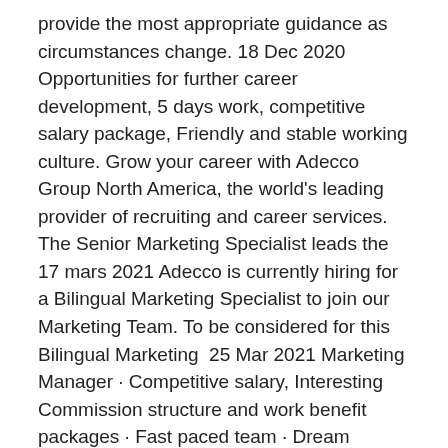provide the most appropriate guidance as circumstances change. 18 Dec 2020 Opportunities for further career development, 5 days work, competitive salary package, Friendly and stable working culture. Grow your career with Adecco Group North America, the world's leading provider of recruiting and career services. The Senior Marketing Specialist leads the  17 mars 2021 Adecco is currently hiring for a Bilingual Marketing Specialist to join our Marketing Team. To be considered for this Bilingual Marketing  25 Mar 2021 Marketing Manager · Competitive salary, Interesting Commission structure and work benefit packages · Fast paced team · Dream experience for  Whether you're a straight laced salesman or a mad scientist marketer, the opportunities are out there for you.